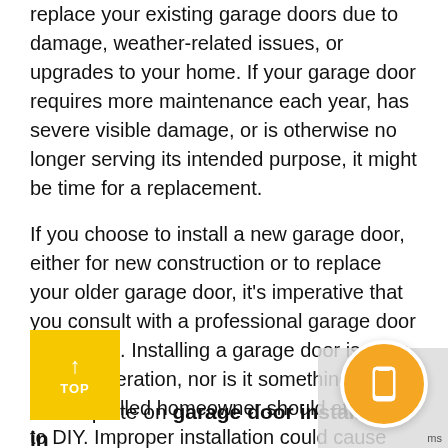replace your existing garage doors due to damage, weather-related issues, or upgrades to your home. If your garage door requires more maintenance each year, has severe visible damage, or is otherwise no longer serving its intended purpose, it might be time for a replacement.
If you choose to install a new garage door, either for new construction or to replace your older garage door, it's imperative that you consult with a professional garage door technician. Installing a garage door is not a simple operation, nor is it something that even a skilled homeowner should attempt to DIY. Improper installation could cause [serious] damage to your property, or worse, to [your]self and others.
For a quote on garage door installation in